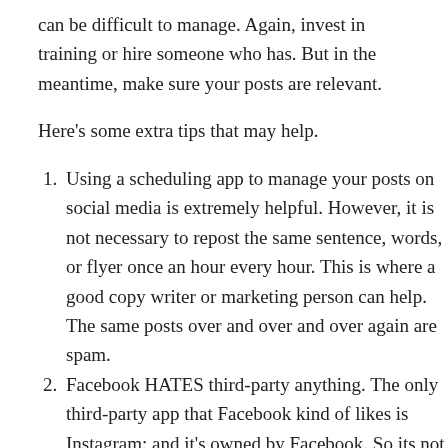can be difficult to manage. Again, invest in training or hire someone who has. But in the meantime, make sure your posts are relevant.
Here's some extra tips that may help.
Using a scheduling app to manage your posts on social media is extremely helpful. However, it is not necessary to repost the same sentence, words, or flyer once an hour every hour. This is where a good copy writer or marketing person can help. The same posts over and over and over again are spam.
Facebook HATES third-party anything. The only third-party app that Facebook kind of likes is Instagram; and it's owned by Facebook. So its not exactly third-party. Your people may or may